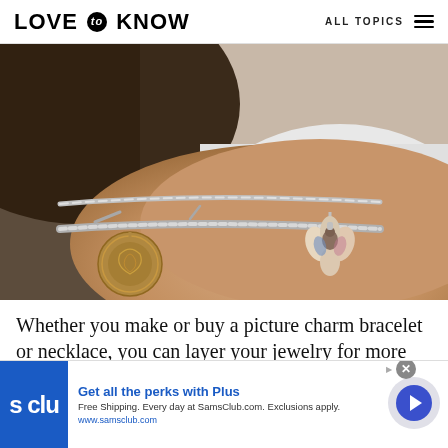LOVE to KNOW  ALL TOPICS
[Figure (photo): Close-up photo of a wrist wearing a layered silver charm bracelet with two charms: a round filigree medallion charm on the left and a colorful flower/angel charm on the right.]
Whether you make or buy a picture charm bracelet or necklace, you can layer your jewelry for more
[Figure (other): Advertisement banner for Sam's Club Plus membership. Blue logo with 's clu' text, headline 'Get all the perks with Plus', body 'Free Shipping. Every day at SamsClub.com. Exclusions apply.', URL 'www.samsclub.com', with a circular arrow button on the right.]